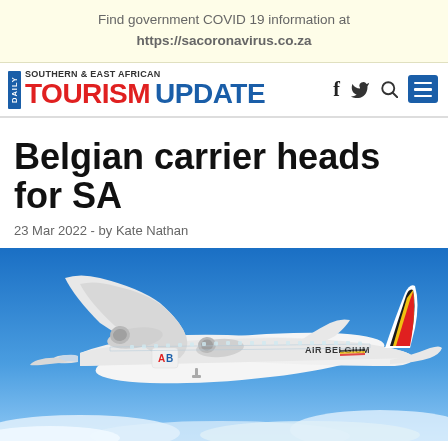Find government COVID 19 information at https://sacoronavirus.co.za
[Figure (logo): Daily Southern & East African Tourism Update logo with navigation icons (f, bird/twitter, magnifying glass, menu)]
Belgian carrier heads for SA
23 Mar 2022 - by Kate Nathan
[Figure (photo): Air Belgium aircraft (white with black, yellow, and red tail livery) flying through blue sky with clouds below]